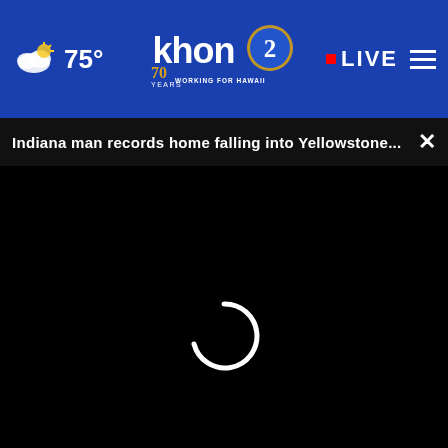[Figure (screenshot): KHON2 news website header with blue background showing weather (cloud icon, 75°), KHON2 Working for Hawaii logo, LIVE button, and hamburger menu]
Indiana man records home falling into Yellowstone... ×
[Figure (screenshot): Black video player area with white circular loading spinner in center]
Experts say fatal ambu
Union wants
Outpo for EM
[Figure (screenshot): ATD Premier Sales Enablement Event advertisement with orange Open button]